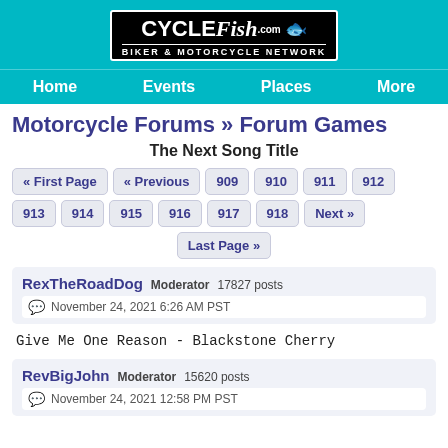[Figure (logo): CycleFish.com Biker & Motorcycle Network logo on teal background]
Home  Events  Places  More
Motorcycle Forums » Forum Games
The Next Song Title
« First Page  « Previous  909  910  911  912  913  914  915  916  917  918  Next »  Last Page »
RexTheRoadDog  Moderator  17827 posts
November 24, 2021 6:26 AM PST
Give Me One Reason - Blackstone Cherry
RevBigJohn  Moderator  15620 posts
November 24, 2021 12:58 PM PST